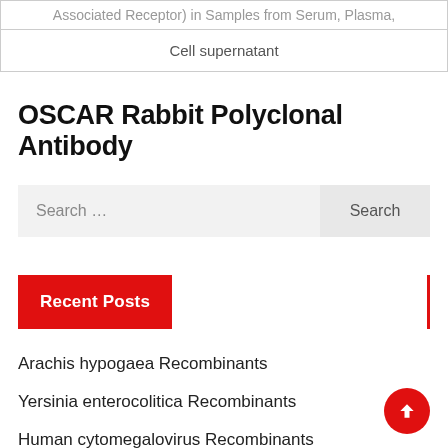| Associated Receptor) in Samples from Serum, Plasma, |
| Cell supernatant |
OSCAR Rabbit Polyclonal Antibody
Search ...
Recent Posts
Arachis hypogaea Recombinants
Yersinia enterocolitica Recombinants
Human cytomegalovirus Recombinants
COVID-19 IgM/IgG Rapid Test